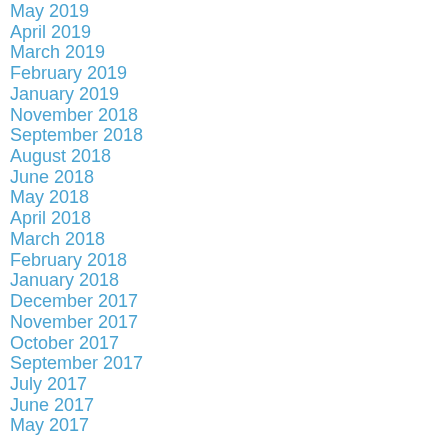May 2019
April 2019
March 2019
February 2019
January 2019
November 2018
September 2018
August 2018
June 2018
May 2018
April 2018
March 2018
February 2018
January 2018
December 2017
November 2017
October 2017
September 2017
July 2017
June 2017
May 2017